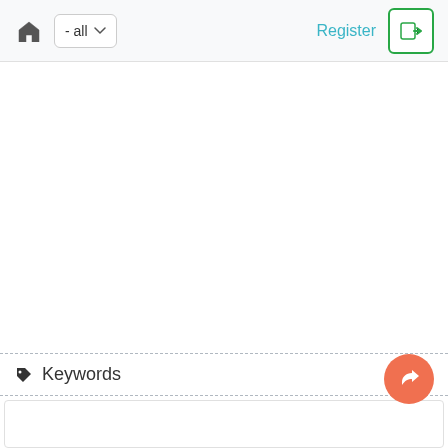- all  Register
Keywords
[Figure (screenshot): Search input box at the bottom of the page]